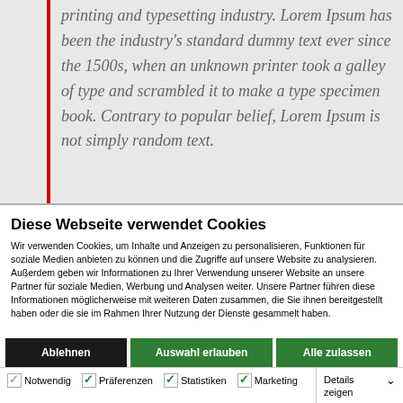printing and typesetting industry. Lorem Ipsum has been the industry's standard dummy text ever since the 1500s, when an unknown printer took a galley of type and scrambled it to make a type specimen book. Contrary to popular belief, Lorem Ipsum is not simply random text.
Diese Webseite verwendet Cookies
Wir verwenden Cookies, um Inhalte und Anzeigen zu personalisieren, Funktionen für soziale Medien anbieten zu können und die Zugriffe auf unsere Website zu analysieren. Außerdem geben wir Informationen zu Ihrer Verwendung unserer Website an unsere Partner für soziale Medien, Werbung und Analysen weiter. Unsere Partner führen diese Informationen möglicherweise mit weiteren Daten zusammen, die Sie ihnen bereitgestellt haben oder die sie im Rahmen Ihrer Nutzung der Dienste gesammelt haben.
Ablehnen | Auswahl erlauben | Alle zulassen
Notwendig | Präferenzen | Statistiken | Marketing | Details zeigen